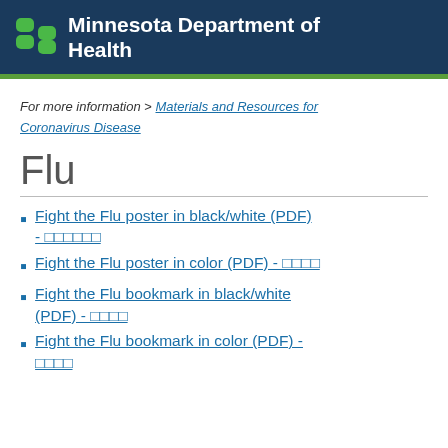Minnesota Department of Health
For more information > Materials and Resources for Coronavirus Disease
Flu
Fight the Flu poster in black/white (PDF) -
Fight the Flu poster in color (PDF) -
Fight the Flu bookmark in black/white (PDF) -
Fight the Flu bookmark in color (PDF) -